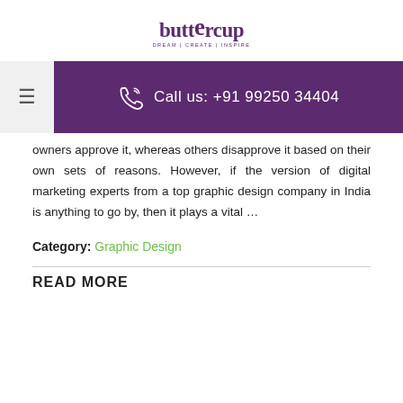[Figure (logo): Buttercup logo with tagline DREAM | CREATE | INSPIRE]
Call us: +91 99250 34404
owners approve it, whereas others disapprove it based on their own sets of reasons. However, if the version of digital marketing experts from a top graphic design company in India is anything to go by, then it plays a vital …
Category: Graphic Design
READ MORE